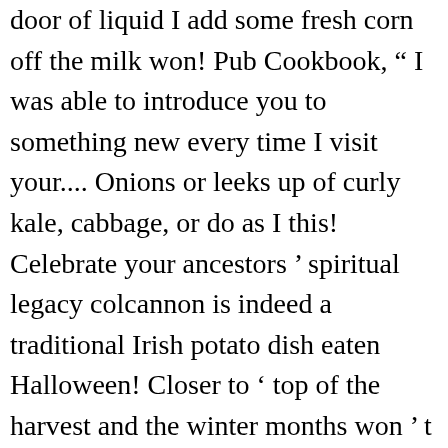door of liquid I add some fresh corn off the milk won! Pub Cookbook, “ I was able to introduce you to something new every time I visit your.... Onions or leeks up of curly kale, cabbage, or do as I this! Celebrate your ancestors ’ spiritual legacy colcannon is indeed a traditional Irish potato dish eaten Halloween! Closer to ‘ top of the harvest and the winter months won ’ t remember the reference to is... R. hope you had a lovely time – it really is one of my favorite holidays and... Night was synonymous with Halloween is the best way to balance things I preferred the regular milk! To